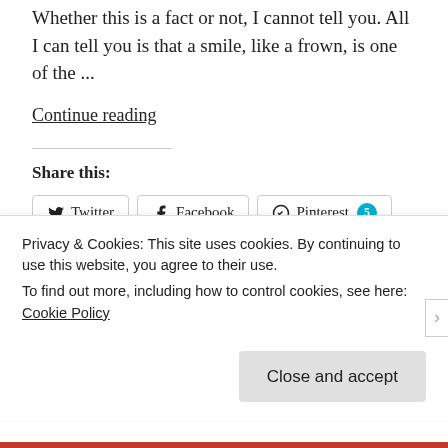Whether this is a fact or not, I cannot tell you. All I can tell you is that a smile, like a frown, is one of the ...
Continue reading
Share this:
Twitter Facebook Pinterest 5 Tumblr
Loading...
MAY 29, 2020
Privacy & Cookies: This site uses cookies. By continuing to use this website, you agree to their use.
To find out more, including how to control cookies, see here: Cookie Policy
Close and accept